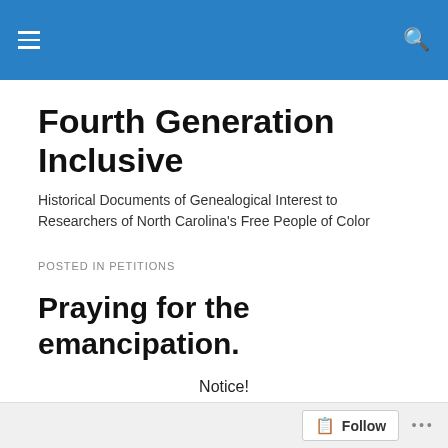Fourth Generation Inclusive
Fourth Generation Inclusive
Historical Documents of Genealogical Interest to Researchers of North Carolina's Free People of Color
POSTED IN PETITIONS
Praying for the emancipation.
Notice!
Is hereby given to all persons, that I shall proceed to file a petition in the next Superior Court to be held for the
Follow